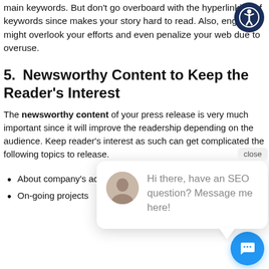main keywords. But don't go overboard with the hyperlinking of keywords since makes your story hard to read. Also, engines might overlook your efforts and even penalize your web due to overuse.
5.    Newsworthy Content to Keep the Reader's Interest
The newsworthy content of your press release is very much important since it will improve the readership depending on the audience. Keep reader's interest as such can get complicated the following topics to release.
About company's achievements
On-going projects